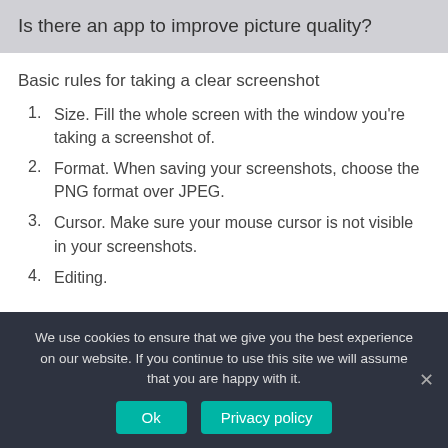Is there an app to improve picture quality?
Basic rules for taking a clear screenshot
Size. Fill the whole screen with the window you're taking a screenshot of.
Format. When saving your screenshots, choose the PNG format over JPEG.
Cursor. Make sure your mouse cursor is not visible in your screenshots.
Editing.
We use cookies to ensure that we give you the best experience on our website. If you continue to use this site we will assume that you are happy with it.